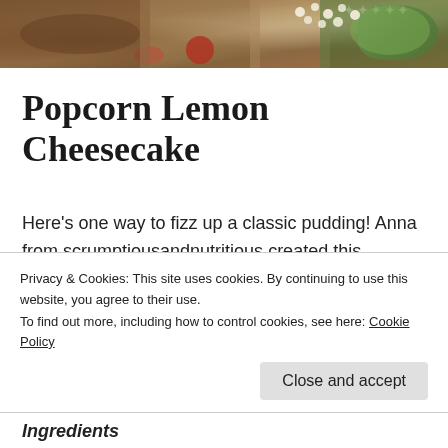[Figure (photo): Photo banner at top of page showing cheesecake with popcorn, summer flowers and wooden background]
Popcorn Lemon Cheesecake
Here's one way to fizz up a classic pudding! Anna from scrumptiousandnutritious created this beautiful cheesecake using our Lemon Sherbet popcorn and we think its perfect, especially when topped off with some pretty summer flowers! Check out her Instagram for more fruity food inspiration!
Privacy & Cookies: This site uses cookies. By continuing to use this website, you agree to their use.
To find out more, including how to control cookies, see here: Cookie Policy
Ingredients